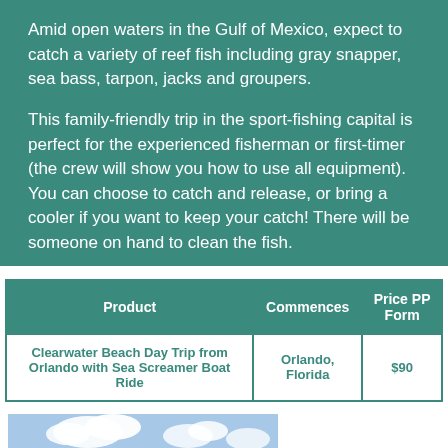Amid open waters in the Gulf of Mexico, expect to catch a variety of reef fish including gray snapper, sea bass, tarpon, jacks and groupers.
This family-friendly trip in the sport-fishing capital is perfect for the experienced fisherman or first-timer (the crew will show you how to use all equipment). You can choose to catch and release, or bring a cooler if you want to keep your catch! There will be someone on hand to clean the fish.
| Product | Commences | Price PP Form |
| --- | --- | --- |
| Clearwater Beach Day Trip from Orlando with Sea Screamer Boat Ride | Orlando, Florida | $90 |
[Figure (photo): Photo of Clearwater Beach with boats and trees visible under a partly cloudy sky]